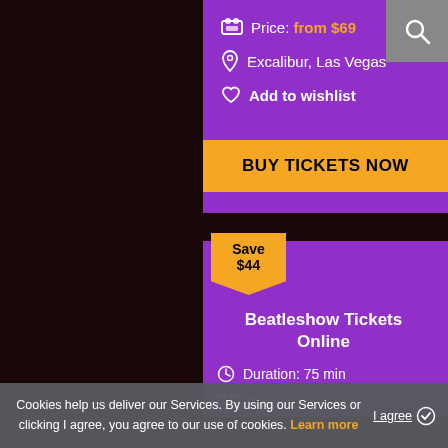Price: from $69
Excalibur, Las Vegas
Add to wishlist
BUY TICKETS NOW
Save $44
Beatleshow Tickets Online
Duration: 75 min
Price: from $29
Cookies help us deliver our Services. By using our Services or clicking I agree, you agree to our use of cookies. Learn more
I agree